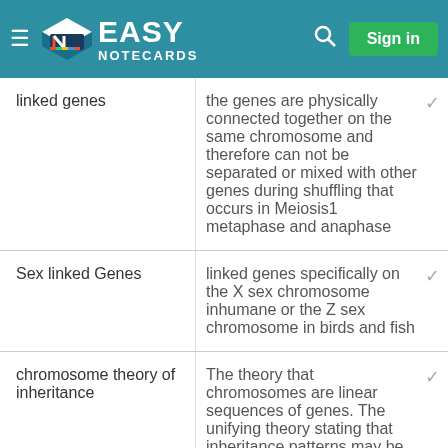[Figure (screenshot): Easy Notecards website header with logo, hamburger menu, search icon, and Sign in button on teal background]
| Term | Definition |
| --- | --- |
| linked genes | the genes are physically connected together on the same chromosome and therefore can not be separated or mixed with other genes during shuffling that occurs in Meiosis1 metaphase and anaphase |
| Sex linked Genes | linked genes specifically on the X sex chromosome inhumane or the Z sex chromosome in birds and fish |
| chromosome theory of inheritance | The theory that chromosomes are linear sequences of genes. The unifying theory stating that inheritance patterns may be generally explained by assuming... |